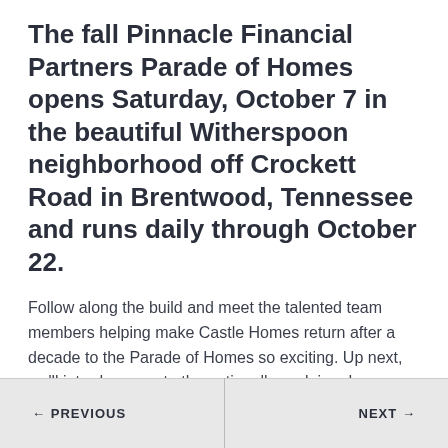The fall Pinnacle Financial Partners Parade of Homes opens Saturday, October 7 in the beautiful Witherspoon neighborhood off Crockett Road in Brentwood, Tennessee and runs daily through October 22.
Follow along the build and meet the talented team members helping make Castle Homes return after a decade to the Parade of Homes so exciting. Up next, we'll introduce you to the nationally acclaimed landscape architect, Gavin Duke, of Page | Duke Landscape Architects.
← PREVIOUS   NEXT →